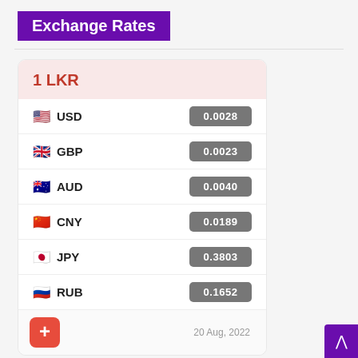Exchange Rates
| Currency | Rate |
| --- | --- |
| USD | 0.0028 |
| GBP | 0.0023 |
| AUD | 0.0040 |
| CNY | 0.0189 |
| JPY | 0.3803 |
| RUB | 0.1652 |
1 LKR
20 Aug, 2022
Exchange Rate LKR: Sat, 20 Aug.